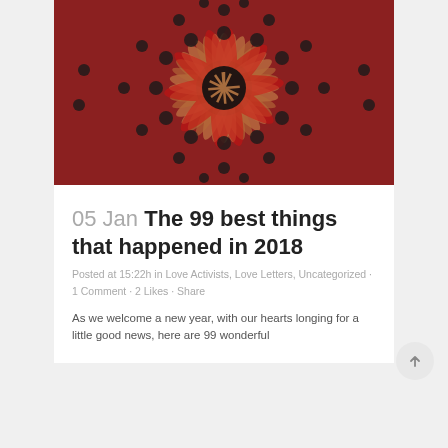[Figure (photo): Aerial view of a large group of people in red and black clothing, arranged in a radial/circular pattern, arms extended toward the center, forming a human mandala or tower formation.]
05 Jan The 99 best things that happened in 2018
Posted at 15:22h in Love Activists, Love Letters, Uncategorized · 1 Comment · 2 Likes · Share
As we welcome a new year, with our hearts longing for a little good news, here are 99 wonderful